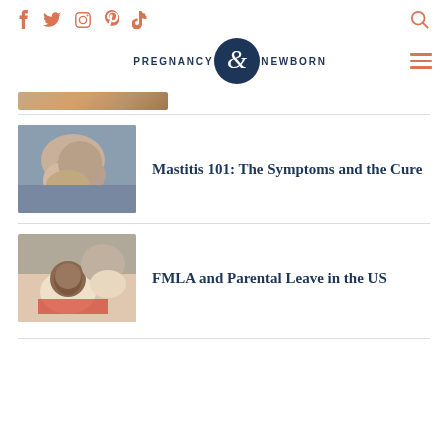Social icons: f, Twitter, Instagram, Pinterest, TikTok; Search icon
[Figure (logo): Pregnancy & Newborn magazine logo with ampersand emblem in dark navy circle]
[Figure (photo): Partial cropped photo of breastfeeding or baby-related image]
[Figure (photo): Close-up photo of a parent holding a newborn baby skin-to-skin]
Mastitis 101: The Symptoms and the Cure
[Figure (photo): Photo of a parent lying down holding a baby on their chest, baby looking at camera]
FMLA and Parental Leave in the US